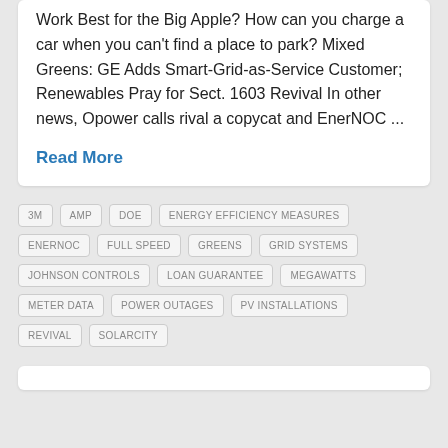Work Best for the Big Apple? How can you charge a car when you can't find a place to park? Mixed Greens: GE Adds Smart-Grid-as-Service Customer; Renewables Pray for Sect. 1603 Revival In other news, Opower calls rival a copycat and EnerNOC ...
Read More
3M
AMP
DOE
ENERGY EFFICIENCY MEASURES
ENERNOC
FULL SPEED
GREENS
GRID SYSTEMS
JOHNSON CONTROLS
LOAN GUARANTEE
MEGAWATTS
METER DATA
POWER OUTAGES
PV INSTALLATIONS
REVIVAL
SOLARCITY